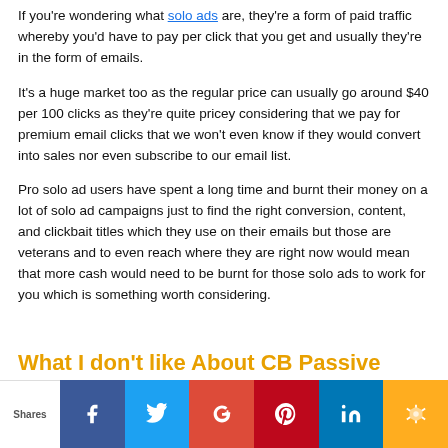If you're wondering what solo ads are, they're a form of paid traffic whereby you'd have to pay per click that you get and usually they're in the form of emails.
It's a huge market too as the regular price can usually go around $40 per 100 clicks as they're quite pricey considering that we pay for premium email clicks that we won't even know if they would convert into sales nor even subscribe to our email list.
Pro solo ad users have spent a long time and burnt their money on a lot of solo ad campaigns just to find the right conversion, content, and clickbait titles which they use on their emails but those are veterans and to even reach where they are right now would mean that more cash would need to be burnt for those solo ads to work for you which is something worth considering.
What I don't like About CB Passive